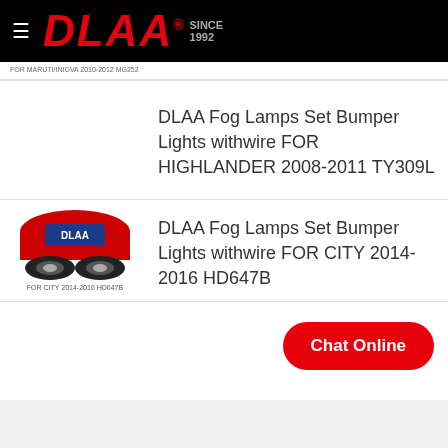DLAA SINCE 1992
[Figure (photo): Product image with caption: FOR MARUTI/INIOVA 2010-2012 MG252]
DLAA Fog Lamps Set Bumper Lights withwire FOR HIGHLANDER 2008-2011 TY309L
[Figure (photo): Product image with caption: FOR CITY 2014-2016 HD647B]
DLAA Fog Lamps Set Bumper Lights withwire FOR CITY 2014-2016 HD647B
Chat Online